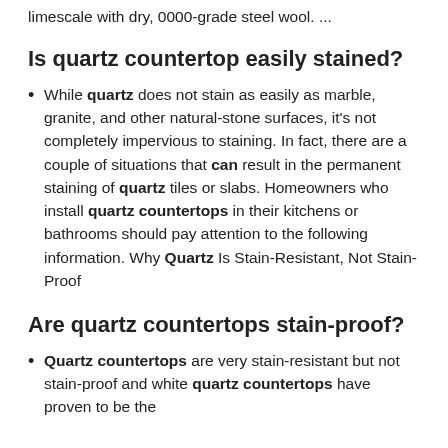limescale with dry, 0000-grade steel wool. ...
Is quartz countertop easily stained?
While quartz does not stain as easily as marble, granite, and other natural-stone surfaces, it's not completely impervious to staining. In fact, there are a couple of situations that can result in the permanent staining of quartz tiles or slabs. Homeowners who install quartz countertops in their kitchens or bathrooms should pay attention to the following information. Why Quartz Is Stain-Resistant, Not Stain-Proof
Are quartz countertops stain-proof?
Quartz countertops are very stain-resistant but not stain-proof and white quartz countertops have proven to be the